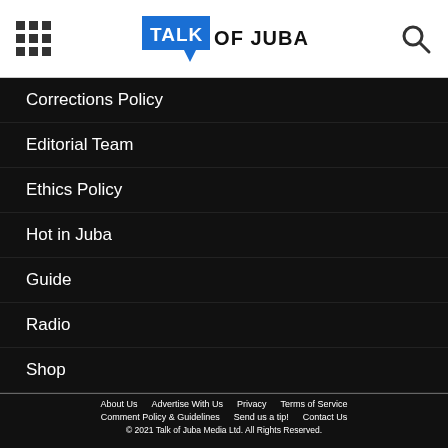TALK OF JUBA
Corrections Policy
Editorial Team
Ethics Policy
Hot in Juba
Guide
Radio
Shop
Jobs
About Us   Advertise With Us   Privacy   Terms of Service   Comment Policy & Guidelines   Send us a tip!   Contact Us   © 2021 Talk of Juba Media Ltd. All Rights Reserved.